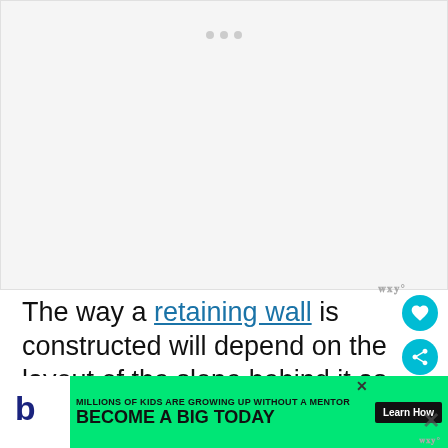[Figure (photo): Large blank/white image placeholder area with three gray dots indicating image loading or carousel navigation]
The way a retaining wall is constructed will depend on the layout of the slope behind it as well as the ground-water conditions and bu... cover
[Figure (other): Advertisement banner: Big Brothers Big Sisters - Millions of kids are growing up without a mentor. Become a Big Today. Learn How.]